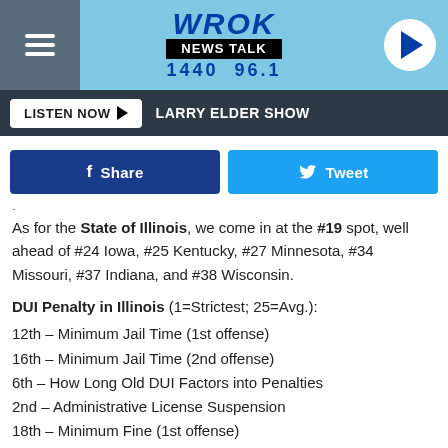[Figure (screenshot): WROK News Talk 1440 96.1 radio station website header with hamburger menu, logo, and play button]
LISTEN NOW ▶  LARRY ELDER SHOW
[Figure (screenshot): Facebook Share and Twitter Tweet social sharing buttons]
As for the State of Illinois, we come in at the #19 spot, well ahead of #24 Iowa, #25 Kentucky, #27 Minnesota, #34 Missouri, #37 Indiana, and #38 Wisconsin.
DUI Penalty in Illinois (1=Strictest; 25=Avg.):
12th – Minimum Jail Time (1st offense)
16th – Minimum Jail Time (2nd offense)
6th – How Long Old DUI Factors into Penalties
2nd – Administrative License Suspension
18th – Minimum Fine (1st offense)